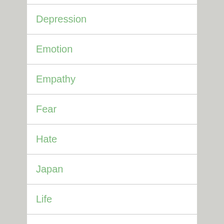Depression
Emotion
Empathy
Fear
Hate
Japan
Life
Loneliness
Love